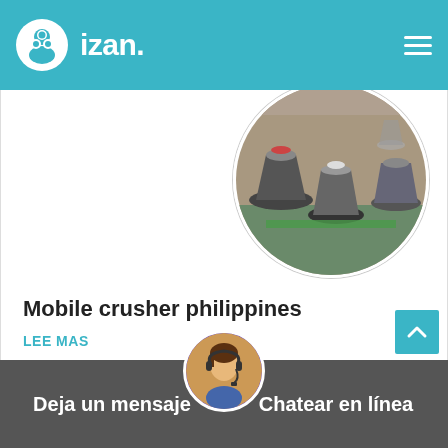izan.
[Figure (photo): Circular cropped photo of industrial cone crushers in a factory/warehouse setting, showing large grey metal crushing machines with red parts on a green floor.]
Mobile crusher philippines
Leading mobile stone crusher and mill manufacturer in china get priceproduct manualplease contact us live chat posted in coal…
LEE MAS
Deja un mensaje   Chatear en línea